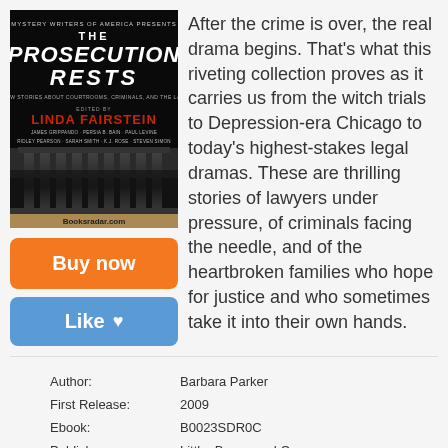[Figure (illustration): Book cover for 'The Prosecution Rests: New Stories about Courtrooms, Criminals, and the Law' edited by Linda Fairstein, Mystery Writers of America Presents. Black cover with columns of a courthouse, red accent text, booksradar.com watermark.]
After the crime is over, the real drama begins. That's what this riveting collection proves as it carries us from the witch trials to Depression-era Chicago to today's highest-stakes legal dramas. These are thrilling stories of lawyers under pressure, of criminals facing the needle, and of the heartbroken families who hope for justice and who sometimes take it into their own hands.
Buy now
Like ♥
| Author: | Barbara Parker |
| First Release: | 2009 |
| Ebook: | B0023SDR0C |
| Publisher: | Little, Brown and Company |